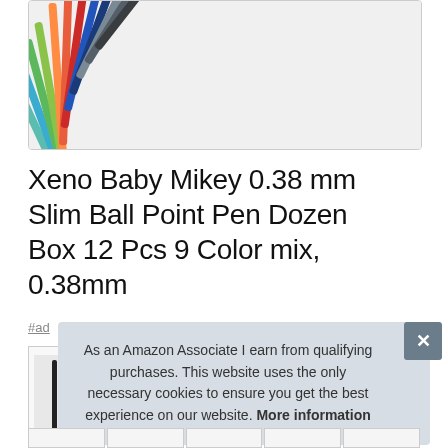[Figure (photo): Photo of multiple slim ballpoint pens fanned out in various colors including teal, green, orange, red, blue, gray, and black, viewed from the tips end against a white background.]
Xeno Baby Mikey 0.38 mm Slim Ball Point Pen Dozen Box 12 Pcs 9 Color mix, 0.38mm
#ad
[Figure (photo): Small thumbnail image of pens product]
As an Amazon Associate I earn from qualifying purchases. This website uses the only necessary cookies to ensure you get the best experience on our website. More information